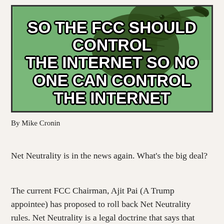[Figure (illustration): Philosoraptor meme: green dinosaur (velociraptor) on green background with white bold text reading 'SO THE FCC SHOULD CONTROL THE INTERNET SO NO ONE CAN CONTROL THE INTERNET']
By Mike Cronin
Net Neutrality is in the news again.  What's the big deal?
The current FCC Chairman, Ajit Pai (A Trump appointee) has proposed to roll back Net Neutrality rules. Net Neutrality is a legal doctrine that says that